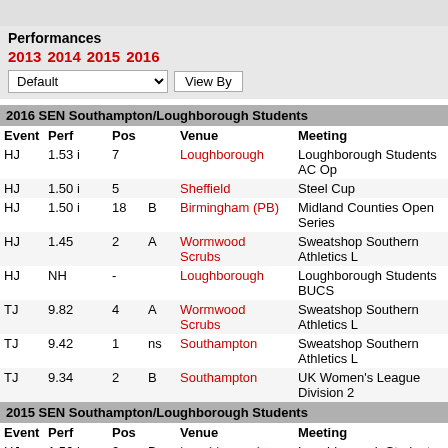Performances 2013 2014 2015 2016
2016 SEN Southampton/Loughborough Students
| Event | Perf | Pos |  | Venue | Meeting |
| --- | --- | --- | --- | --- | --- |
| HJ | 1.53 i | 7 |  | Loughborough | Loughborough Students AC Op |
| HJ | 1.50 i | 5 |  | Sheffield | Steel Cup |
| HJ | 1.50 i | 18 | B | Birmingham (PB) | Midland Counties Open Series |
| HJ | 1.45 | 2 | A | Wormwood Scrubs | Sweatshop Southern Athletics L |
| HJ | NH | - |  | Loughborough | Loughborough Students BUCS |
| TJ | 9.82 | 4 | A | Wormwood Scrubs | Sweatshop Southern Athletics L |
| TJ | 9.42 | 1 | ns | Southampton | Sweatshop Southern Athletics L |
| TJ | 9.34 | 2 | B | Southampton | UK Women's League Division 2 |
2015 SEN Southampton/Loughborough Students
| Event | Perf | Pos |  | Venue | Meeting |
| --- | --- | --- | --- | --- | --- |
| HJ | 1.56 i | 2 | B | Loughborough | Loughborough Students AC Op |
| HJ | 1.56 i | 5 | A | Lee Valley | London Senior / U20 Indoor Ga |
| HJ | 1.55 i | 3 |  | Cardiff | Welsh U13 / U17 / Senior Cham |
| HJ | 1.55 i | 2 |  | Uxbridge | Brunel Jumps & Throws Festiva |
| HJ | 1.55 | 6 | qA | Bedford | BUCS Championships |
| HJ | 1.55 | 5 | A | Stoke Gifford | UK Women's League Division 1 |